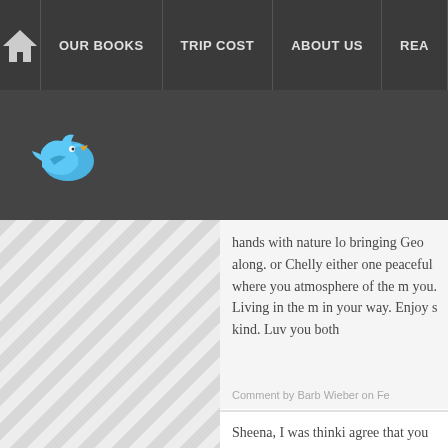HOME | OUR BOOKS | TRIP COST | ABOUT US | REA...
[Figure (illustration): Twitter bird logo in blue]
[Figure (illustration): Page image with diagonal stripe pattern on left panel]
hands with nature lo... bringing Geo along. or Chelly either one peaceful where you atmosphere of the m... you. Living in the m... in your way. Enjoy s... kind. Luv you both
Comment by Barb Wieber on Fe...
Sheena, I was thinki... agree that you need... could be part of you...